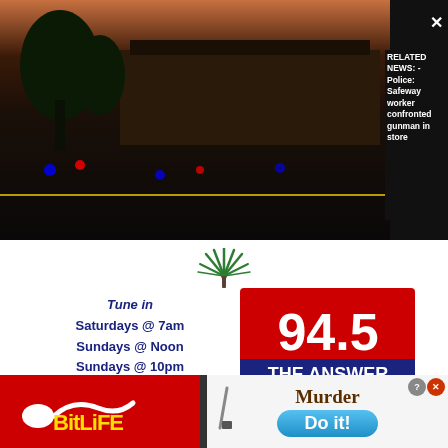[Figure (screenshot): Dark video still of a parking lot at night/dusk with police lights, overlaid with related news text]
RELATED NEWS: - Police: Safeway worker confronted gunman in store
[Figure (illustration): Small green palm/fireworks icon]
Tune in
Saturdays @ 7am
Sundays @ Noon
Sundays @ 10pm
Mondays @ 5am
[Figure (logo): 94.5 The Answer radio station logo - red and navy, News Opinion Insight, WGTK-FM]
945WGTKTheAnswer
[Figure (screenshot): BitLife advertisement - red background with BitLife logo on left, Murder / Do it! game graphic on right]